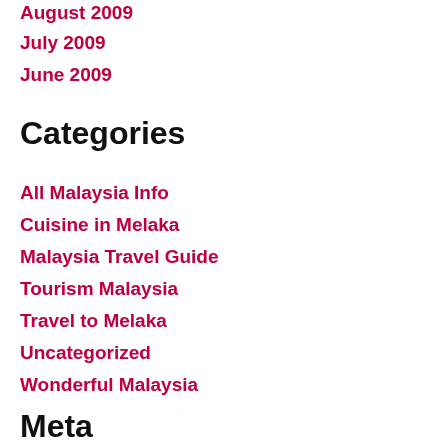August 2009
July 2009
June 2009
Categories
All Malaysia Info
Cuisine in Melaka
Malaysia Travel Guide
Tourism Malaysia
Travel to Melaka
Uncategorized
Wonderful Malaysia
Meta